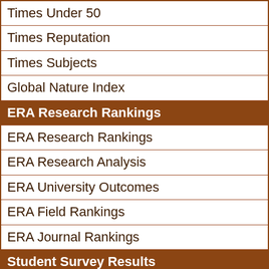Times Under 50
Times Reputation
Times Subjects
Global Nature Index
ERA Research Rankings
ERA Research Rankings
ERA Research Analysis
ERA University Outcomes
ERA Field Rankings
ERA Journal Rankings
Student Survey Results
Business Schools Survey
Health Schools Survey
Humanities Schools Survey
Science Schools Survey
ATAR Entry Scores
Student Numbers
Total Student Numbers